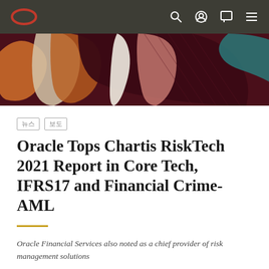[Figure (screenshot): Oracle website navigation bar with Oracle logo on left and search, account, chat, and menu icons on right, dark olive/charcoal background]
[Figure (illustration): Abstract colorful hero image with orange, maroon, peach, pink, and teal shapes resembling leaves or fabric folds on a dark maroon background]
뉴스 보도
Oracle Tops Chartis RiskTech 2021 Report in Core Tech, IFRS17 and Financial Crime-AML
Oracle Financial Services also noted as a chief provider of risk management solutions